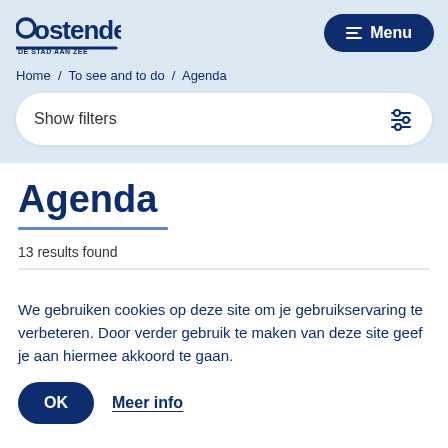[Figure (logo): Oostende De Stad Aan Zee logo]
Menu
Home / To see and to do / Agenda
Show filters
Agenda
13 results found
We gebruiken cookies op deze site om je gebruikservaring te verbeteren. Door verder gebruik te maken van deze site geef je aan hiermee akkoord te gaan.
OK
Meer info